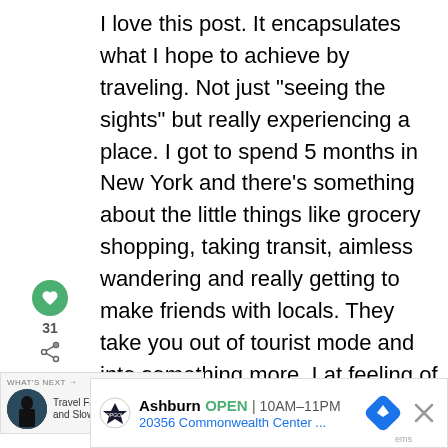I love this post. It encapsulates what I hope to achieve by traveling. Not just “seeing the sights” but really experiencing a place. I got to spend 5 months in New York and there’s something about the little things like grocery shopping, taking transit, aimless wandering and really getting to make friends with locals. They take you out of tourist mode and into something more. I at feeling of living in a place, not just passing through.
[Figure (infographic): Social media sidebar with heart/like button (green circle with heart icon), count of 31, and share icon]
[Figure (infographic): What's Next widget showing Travel Fatigue, and Slowing... with a circular thumbnail of a silhouette traveler]
[Figure (infographic): Advertisement banner for TopGolf Ashburn location showing OPEN, hours 10AM-11PM, address 20356 Commonwealth Center..., navigation icon, and close button]